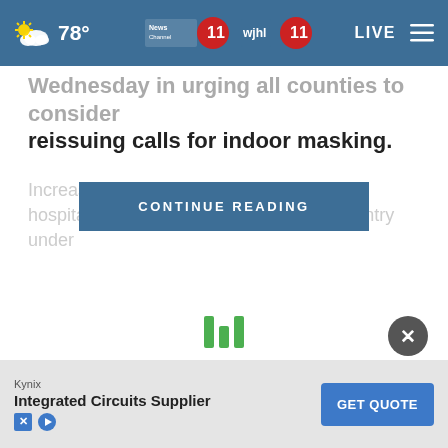78° | News Channel 11 WJHL 11 | LIVE
Wednesday in urging all counties to consider reissuing calls for indoor masking.
Increasing num...ons and hospitalizations...country under
[Figure (screenshot): CONTINUE READING button overlay in dark blue]
[Figure (screenshot): Loading spinner with three green vertical bars]
[Figure (screenshot): Close (X) button, dark circular icon, bottom right]
Kynix
Integrated Circuits Supplier
[Figure (screenshot): GET QUOTE advertisement button (blue)]